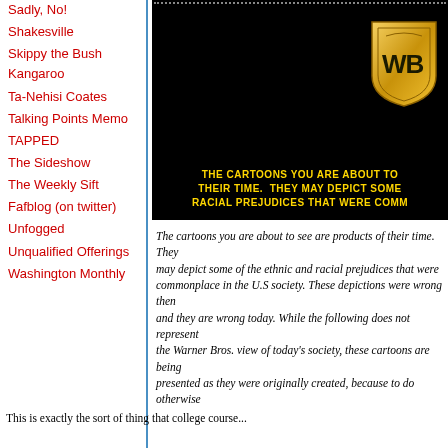Sadly, No!
Shakesville
Skippy the Bush Kangaroo
Ta-Nehisi Coates
Talking Points Memo
TAPPED
The Sideshow
The Weekly Sift
Fafblog (on twitter)
Unfogged
Unqualified Offerings
Washington Monthly
[Figure (screenshot): Warner Bros. disclaimer screen with gold WB shield logo on black background. Text reads: THE CARTOONS YOU ARE ABOUT TO [SEE ARE PRODUCTS OF] THEIR TIME. THEY MAY DEPICT SOM[E OF THE ETHNIC AND] RACIAL PREJUDICES THAT WERE COMM[ONPLACE IN U.S. SOCIETY]]
The cartoons you are about to see are pro[ducts of their time. They] may depict some of the ethnic and racial p[rejudices that were] commonplace in the U.S society. These de[pictions were wrong then] and they are wrong today. While the follo[wing does not represent] the Warner Bros. view of today's society, t[hese cartoons are being] presented as they were originally created, [because to do otherwise] would be the same as claiming that these p[rejudices never existed.]
This is exactly the sort of thing that college course...